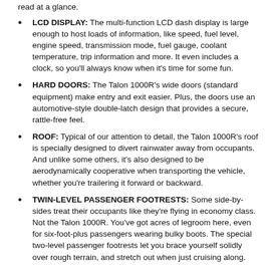read at a glance.
LCD DISPLAY: The multi-function LCD dash display is large enough to host loads of information, like speed, fuel level, engine speed, transmission mode, fuel gauge, coolant temperature, trip information and more. It even includes a clock, so you'll always know when it's time for some fun.
HARD DOORS: The Talon 1000R's wide doors (standard equipment) make entry and exit easier. Plus, the doors use an automotive-style double-latch design that provides a secure, rattle-free feel.
ROOF: Typical of our attention to detail, the Talon 1000R's roof is specially designed to divert rainwater away from occupants. And unlike some others, it's also designed to be aerodynamically cooperative when transporting the vehicle, whether you're trailering it forward or backward.
TWIN-LEVEL PASSENGER FOOTRESTS: Some side-by-sides treat their occupants like they're flying in economy class. Not the Talon 1000R. You've got acres of legroom here, even for six-foot-plus passengers wearing bulky boots. The special two-level passenger footrests let you brace yourself solidly over rough terrain, and stretch out when just cruising along.